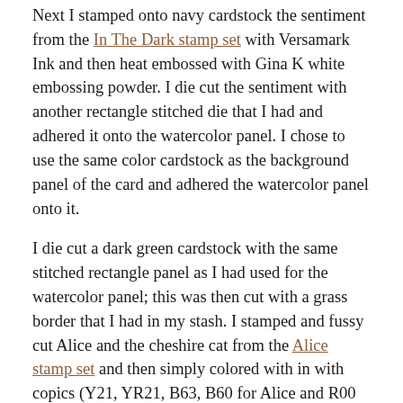Next I stamped onto navy cardstock the sentiment from the In The Dark stamp set with Versamark Ink and then heat embossed with Gina K white embossing powder. I die cut the sentiment with another rectangle stitched die that I had and adhered it onto the watercolor panel.  I chose to use the same color cardstock as the background panel of the card and adhered the watercolor panel onto it.
I die cut a dark green cardstock with the same stitched rectangle panel as I had used for the watercolor panel; this was then cut with a grass border that I had in my stash.  I stamped and fussy cut Alice and the cheshire cat from the Alice stamp set and then simply colored with in with copics (Y21, YR21, B63, B60 for Alice and R00 & V22 for the cat).
Thank you so much for stopping by- I wish you a crafty